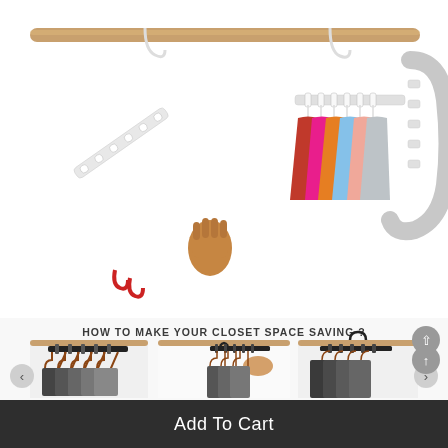[Figure (photo): Product showcase of white space-saving closet hangers on a wooden rod. Left side shows a hand holding a cascading white plastic hanger connector with red hooks at bottom. Center shows multiple colorful garments hanging from a white multi-hook hanger on rod. Right side shows a close-up of a white C-shaped hook end of the hanger system.]
[Figure (photo): How-to instructional image with text 'HOW TO MAKE YOUR CLOSET SPACE SAVING ?' showing three panels: left panel shows black space-saving hanger holding multiple dark suits/shirts on brown hangers, center panel shows a hand arranging black hanger connector on a wooden rod, right panel shows shirts hanging from the black hanger system on a wooden rod. Navigation left and right arrows visible on sides.]
Add To Cart